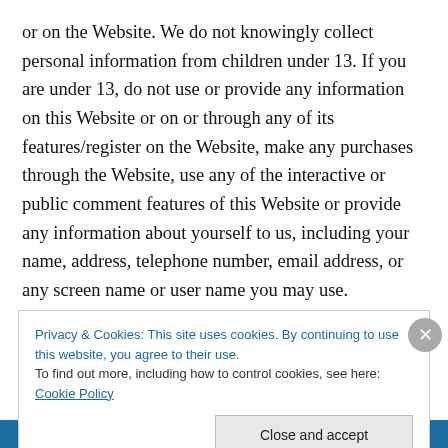or on the Website. We do not knowingly collect personal information from children under 13. If you are under 13, do not use or provide any information on this Website or on or through any of its features/register on the Website, make any purchases through the Website, use any of the interactive or public comment features of this Website or provide any information about yourself to us, including your name, address, telephone number, email address, or any screen name or user name you may use.

If we learn we have collected or received personal
Privacy & Cookies: This site uses cookies. By continuing to use this website, you agree to their use.
To find out more, including how to control cookies, see here: Cookie Policy
Close and accept